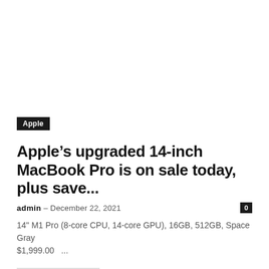[Figure (photo): Top image area, blank/white]
Apple
Apple’s upgraded 14-inch MacBook Pro is on sale today, plus save...
admin – December 22, 2021   0
14" M1 Pro (8-core CPU, 14-core GPU), 16GB, 512GB, Space Gray $1,999.00   ...
[Figure (photo): Thumbnail image for related article]
Google confirms that advanced backdoor came preinstalled on Android devices
June 8, 2019